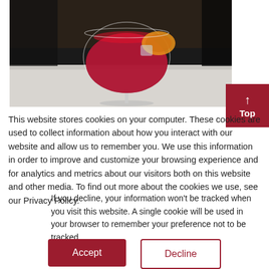[Figure (photo): A red cocktail drink in a coupe glass with an orange peel garnish, sitting on a table in a restaurant/bar setting]
This website stores cookies on your computer. These cookies are used to collect information about how you interact with our website and allow us to remember you. We use this information in order to improve and customize your browsing experience and for analytics and metrics about our visitors both on this website and other media. To find out more about the cookies we use, see our Privacy Policy.
If you decline, your information won't be tracked when you visit this website. A single cookie will be used in your browser to remember your preference not to be tracked.
Accept
Decline